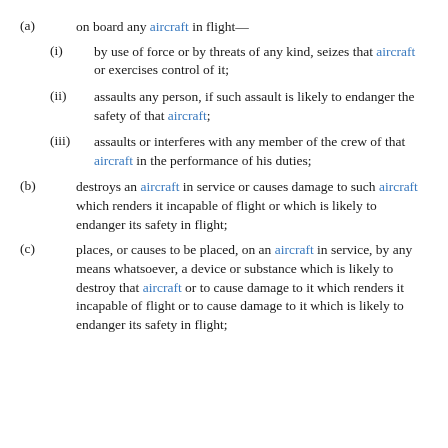(a) on board any aircraft in flight—
(i) by use of force or by threats of any kind, seizes that aircraft or exercises control of it;
(ii) assaults any person, if such assault is likely to endanger the safety of that aircraft;
(iii) assaults or interferes with any member of the crew of that aircraft in the performance of his duties;
(b) destroys an aircraft in service or causes damage to such aircraft which renders it incapable of flight or which is likely to endanger its safety in flight;
(c) places, or causes to be placed, on an aircraft in service, by any means whatsoever, a device or substance which is likely to destroy that aircraft or to cause damage to it which renders it incapable of flight or to cause damage to it which is likely to endanger its safety in flight;